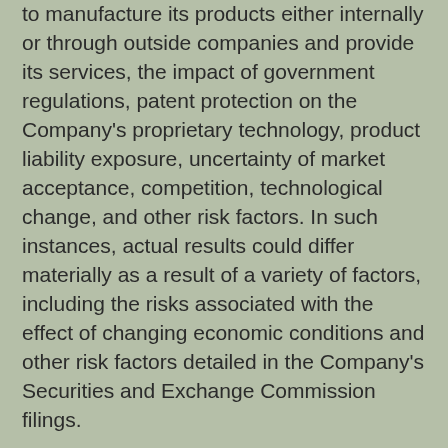to manufacture its products either internally or through outside companies and provide its services, the impact of government regulations, patent protection on the Company's proprietary technology, product liability exposure, uncertainty of market acceptance, competition, technological change, and other risk factors. In such instances, actual results could differ materially as a result of a variety of factors, including the risks associated with the effect of changing economic conditions and other risk factors detailed in the Company's Securities and Exchange Commission filings.
Contacts:
James A. Joyce
Chairman and CEO
858.459.7800 x301
jj@aethlonmedical.com
Jim Frakes
Chief Financial Officer
858.459.7800 x300
jfrakes@aethlonmedical.com
John P. Salvador
Director, Communications & Investor Relations
858.459.7800 x307